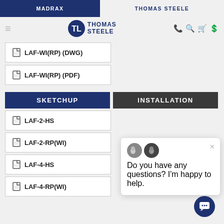MADRAX | THOMAS STEELE
[Figure (logo): Thomas Steele logo with circular TL emblem]
LAF-WI(RP) (DWG)
LAF-WI(RP) (PDF)
SKETCHUP
INSTALLATION
LAF-2-HS
LAF-2-RP(WI)
LAF-4-HS
LAF-4-RP(WI)
Do you have any questions? I'm happy to help.